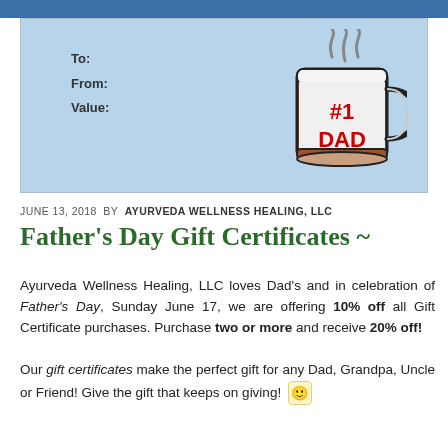[Figure (illustration): Gift certificate template with light blue background showing To:, From:, Value: fields on the left and a #1 DAD coffee mug illustration on the right with steam rising from it]
JUNE 13, 2018 BY AYURVEDA WELLNESS HEALING, LLC
Father's Day Gift Certificates ~
Ayurveda Wellness Healing, LLC loves Dad's and in celebration of Father's Day, Sunday June 17, we are offering 10% off all Gift Certificate purchases. Purchase two or more and receive 20% off!
Our gift certificates make the perfect gift for any Dad, Grandpa, Uncle or Friend! Give the gift that keeps on giving! 🙂